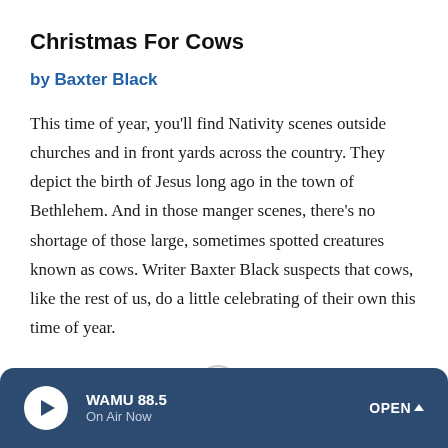Christmas For Cows
by Baxter Black
This time of year, you'll find Nativity scenes outside churches and in front yards across the country. They depict the birth of Jesus long ago in the town of Bethlehem. And in those manger scenes, there's no shortage of those large, sometimes spotted creatures known as cows. Writer Baxter Black suspects that cows, like the rest of us, do a little celebrating of their own this time of year.
LISTEN · 2:32
WAMU 88.5 On Air Now OPEN ^